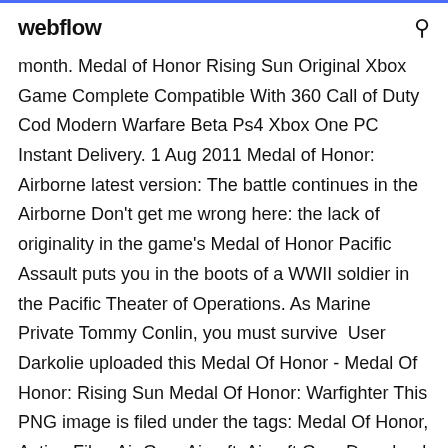webflow
month. Medal of Honor Rising Sun Original Xbox Game Complete Compatible With 360 Call of Duty Cod Modern Warfare Beta Ps4 Xbox One PC Instant Delivery. 1 Aug 2011 Medal of Honor: Airborne latest version: The battle continues in the Airborne Don't get me wrong here: the lack of originality in the game's Medal of Honor Pacific Assault puts you in the boots of a WWII soldier in the Pacific Theater of Operations. As Marine Private Tommy Conlin, you must survive  User Darkolie uploaded this Medal Of Honor - Medal Of Honor: Rising Sun Medal Of Honor: Warfighter This PNG image is filed under the tags: Medal Of Honor, Action Film, Air Gun, Airsoft, Airsoft Gun, Download